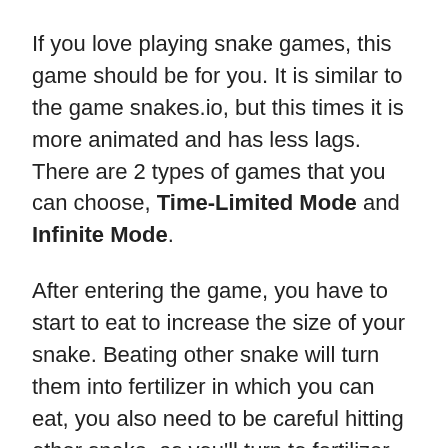If you love playing snake games, this game should be for you. It is similar to the game snakes.io, but this times it is more animated and has less lags. There are 2 types of games that you can choose, Time-Limited Mode and Infinite Mode.
After entering the game, you have to start to eat to increase the size of your snake. Beating other snake will turn them into fertilizer in which you can eat, you also need to be careful hitting other snake, as you'll turn to fertilizer as well.
What we don't like with this game is the enemies  seems to be a bot, because you always encounter the same players every time you start a new game. But still, the game is very great and addicting. Our highest score in the